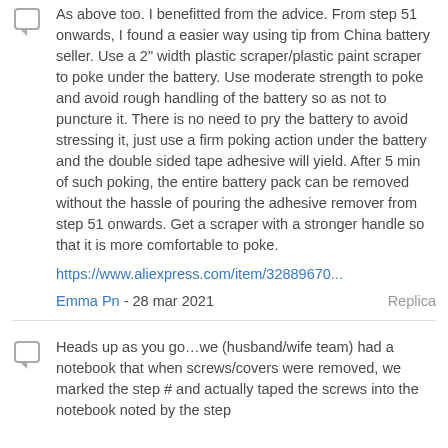As above too. I benefitted from the advice. From step 51 onwards, I found a easier way using tip from China battery seller. Use a 2" width plastic scraper/plastic paint scraper to poke under the battery. Use moderate strength to poke and avoid rough handling of the battery so as not to puncture it. There is no need to pry the battery to avoid stressing it, just use a firm poking action under the battery and the double sided tape adhesive will yield. After 5 min of such poking, the entire battery pack can be removed without the hassle of pouring the adhesive remover from step 51 onwards. Get a scraper with a stronger handle so that it is more comfortable to poke.
https://www.aliexpress.com/item/32889670...
Emma Pn - 28 mar 2021   Replica
Heads up as you go…we (husband/wife team) had a notebook that when screws/covers were removed, we marked the step # and actually taped the screws into the notebook noted by the step